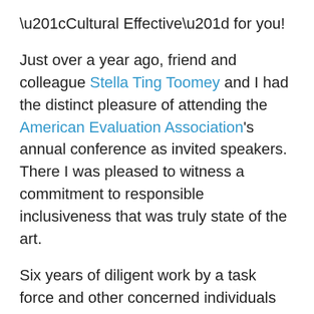“Cultural Effective” for you!
Just over a year ago, friend and colleague Stella Ting Toomey and I had the distinct pleasure of attending the American Evaluation Association’s annual conference as invited speakers. There I was pleased to witness a commitment to responsible inclusiveness that was truly state of the art.
Six years of diligent work by a task force and other concerned individuals had resulted in a theoretically sound and practical Public Statement on Cultural Competence in Evaluation (AEA 2011, Fairhaven, MA USA).
There is so much about this public statement that stands out for me, not least of which is a definition of culture that is at least on a par with the best of what I’ve seen come